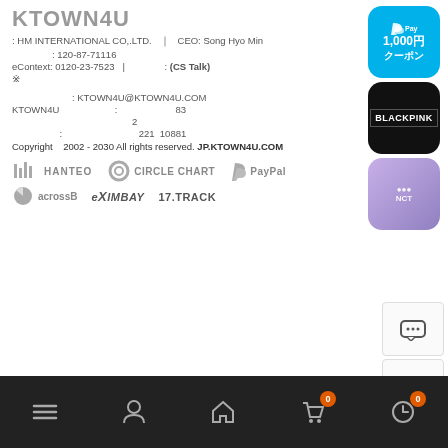KTOWN4U
: HM INTERNATIONAL CO,.LTD. | CEO: Song Hyo Min
: 120-87-71116
eContext: 0120-23-7523 | : (CS Talk)
※
: KTOWN4U@KTOWN4U.COM
KTOWN4U : 83
2
: 221 10881
Copyright 2002 - 2030 All rights reserved. JP.KTOWN4U.COM
[Figure (logo): PayPal 1000 yen coupon app icon]
[Figure (logo): BLACKPINK app icon]
[Figure (logo): NCT app icon]
[Figure (logo): HANTEO, CIRCLE CHART, PayPal partner logos]
[Figure (logo): acrossB, EXIMBAY, 17.TRACK partner logos]
Navigation bar with menu, account, home, cart(0), history(0) icons